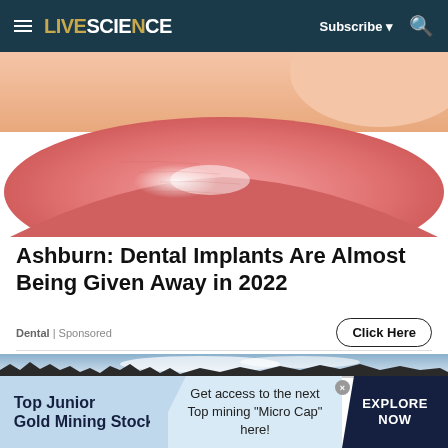LIVESCIENCE | Subscribe | Search
[Figure (photo): Close-up macro photo of human lips with glossy lip gloss, pinkish-red tones, skin texture visible]
Ashburn: Dental Implants Are Almost Being Given Away in 2022
Dental | Sponsored
Click Here
[Figure (photo): Landscape panoramic photo of bare winter trees silhouetted against a cloudy sky]
[Figure (infographic): Advertisement banner: Top Junior Gold Mining Stock — Get access to the next Top mining "Micro Cap" here! — EXPLORE NOW]